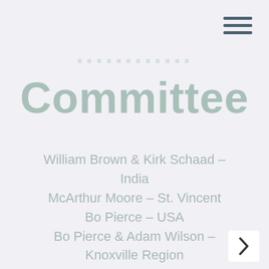[Figure (other): Hamburger menu icon with three horizontal dark teal bars]
Committee
William Brown & Kirk Schaad – India
McArthur Moore – St. Vincent
Bo Pierce – USA
Bo Pierce & Adam Wilson – Knoxville Region
David Roland – Africa
Paul Shirley – Elder
[Figure (other): Navigation arrow button in white rounded box at bottom right]